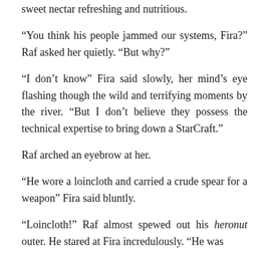sweet nectar refreshing and nutritious.
“You think his people jammed our systems, Fira?” Raf asked her quietly. “But why?”
“I don’t know” Fira said slowly, her mind’s eye flashing though the wild and terrifying moments by the river. “But I don’t believe they possess the technical expertise to bring down a StarCraft.”
Raf arched an eyebrow at her.
“He wore a loincloth and carried a crude spear for a weapon” Fira said bluntly.
“Loincloth!” Raf almost spewed out his heronut outer. He stared at Fira incredulously. “He was